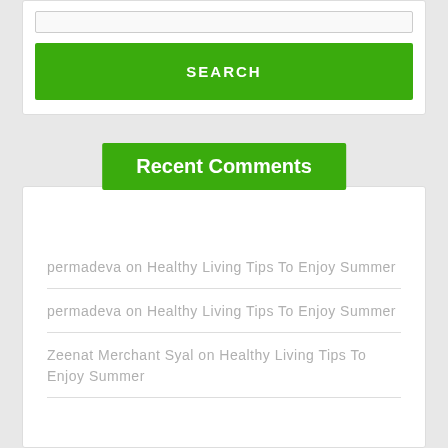[Figure (other): Search input bar (text input field, partially visible at top)]
SEARCH
Recent Comments
permadeva on Healthy Living Tips To Enjoy Summer
permadeva on Healthy Living Tips To Enjoy Summer
Zeenat Merchant Syal on Healthy Living Tips To Enjoy Summer